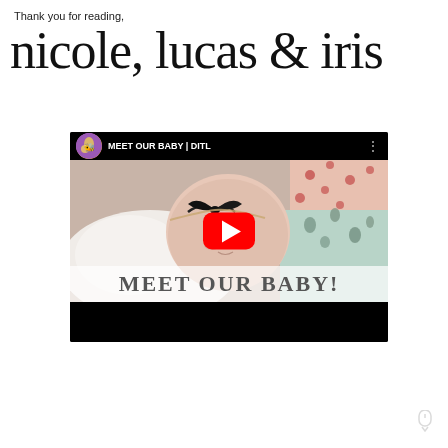Thank you for reading,
nicole, lucas & iris
[Figure (screenshot): YouTube video thumbnail showing a sleeping newborn baby with a black bow headband, wearing a floral onesie, lying on white bedding. The video title bar reads 'MEET OUR BABY | DITL' with a channel avatar. A large red YouTube play button is centered over the image. A semi-transparent banner at the bottom reads 'MEET OUR BABY!' in large serif letters. The bottom has a black bar typical of YouTube embeds.]